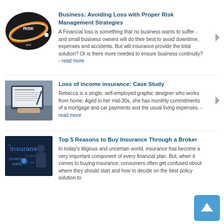[Figure (logo): Risk management circular logo with MIN/MAX text and swoosh graphic]
Business: Avoiding Loss with Proper Risk Management Strategies
A Financial loss is something that no business wants to suffer - and small business owners will do their best to avoid downtime, expenses and accidents. But will insurance provide the total solution? Or is there more needed to ensure business continuity? - read more
[Figure (photo): Person holding a tablet device with documents/forms displayed]
Loss of income insurance: Case Study
Rebecca is a single, self-employed graphic designer who works from home. Aged in her mid-30s, she has monthly commitments of a mortgage and car payments and the usual living expenses. - read more
[Figure (photo): Business person with digital insurance concept/text overlay in dark blue tones]
Top 5 Reasons to Buy Insurance Through a Broker
In today's litigious and uncertain world, insurance has become a very important component of every financial plan. But, when it comes to buying insurance, consumers often get confused about where they should start and how to decide on the best policy solution to